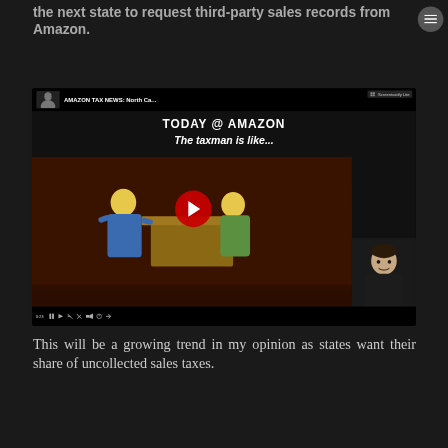the next state to request third-party sales records from Amazon.
[Figure (screenshot): YouTube video thumbnail showing 'AMAZON TAX NEWS: North Ca...' with title 'TODAY @ AMAZON' and subtitle 'The taxman is like...' featuring cartoon Simpsons characters and a YouTube play button, with a person thumbnail in the corner and video player controls at the bottom.]
This will be a growing trend in my opinion as states want their share of uncollected sales taxes.